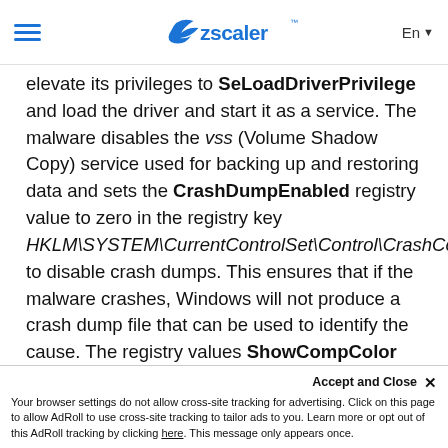Zscaler navigation bar with hamburger menu, Zscaler logo, and language selector (En)
elevate its privileges to SeLoadDriverPrivilege and load the driver and start it as a service. The malware disables the vss (Volume Shadow Copy) service used for backing up and restoring data and sets the CrashDumpEnabled registry value to zero in the registry key HKLM\SYSTEM\CurrentControlSet\Control\CrashControl to disable crash dumps. This ensures that if the malware crashes, Windows will not produce a crash dump file that can be used to identify the cause. The registry values ShowCompColor and ShowInfoTip are also set to zero (i.e. disabled) under the registry key HKEY_USERS\Software\Microsoft\Windows\Current
Accept and Close ×
Your browser settings do not allow cross-site tracking for advertising. Click on this page to allow AdRoll to use cross-site tracking to tailor ads to you. Learn more or opt out of this AdRoll tracking by clicking here. This message only appears once.